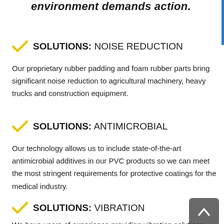environment demands action.
SOLUTIONS: NOISE REDUCTION
Our proprietary rubber padding and foam rubber parts bring significant noise reduction to agricultural machinery, heavy trucks and construction equipment.
SOLUTIONS: ANTIMICROBIAL
Our technology allows us to include state-of-the-art antimicrobial additives in our PVC products so we can meet the most stringent requirements for protective coatings for the medical industry.
SOLUTIONS: VIBRATION
We have years of experience providing vibration solutions